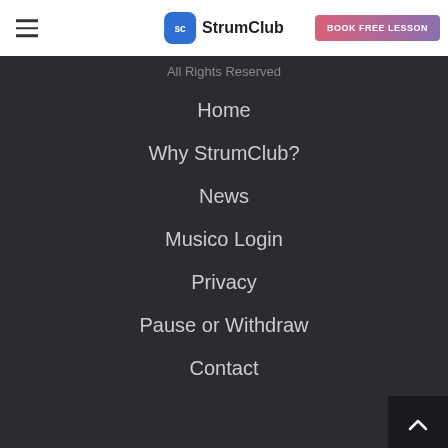SC StrumClub | BOOK FREE LESSON
All Rights Reserved
Home
Why StrumClub?
News
Musico Login
Privacy
Pause or Withdraw
Contact